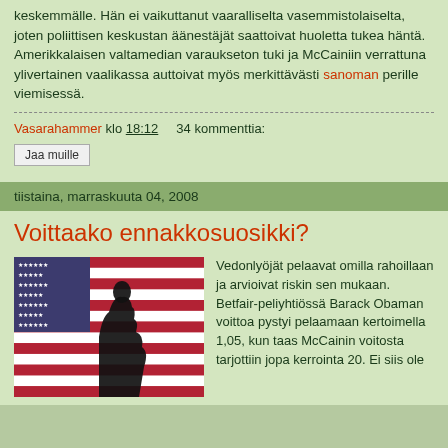keskemmälle. Hän ei vaikuttanut vaaralliselta vasemmistolaiselta, joten poliittisen keskustan äänestäjät saattoivat huoletta tukea häntä. Amerikkalaisen valtamedian varaukseton tuki ja McCainiin verrattuna ylivertainen vaalikassa auttoivat myös merkittävästi sanoman perille viemisessä.
Vasarahammer klo 18:12    34 kommenttia:
Jaa muille
tiistaina, marraskuuta 04, 2008
Voittaako ennakkosuosikki?
[Figure (photo): Silhouette of Barack Obama in front of an American flag]
Vedonlyöjät pelaavat omilla rahoillaan ja arvioivat riskin sen mukaan. Betfair-peliyhtiössä Barack Obaman voittoa pystyi pelaamaan kertoimella 1,05, kun taas McCainin voitosta tarjottiin jopa kerrointa 20. Ei siis ole